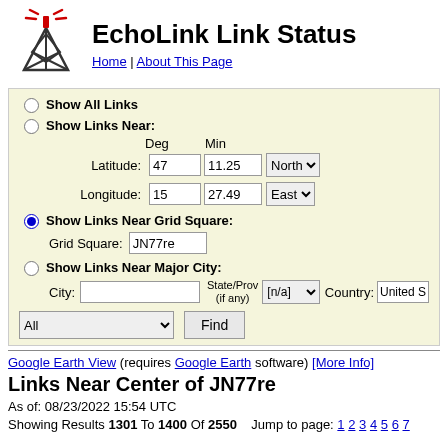EchoLink Link Status
Home | About This Page
Show All Links
Show Links Near:
Latitude: 47 Deg 11.25 Min North
Longitude: 15 Deg 27.49 Min East
Show Links Near Grid Square: JN77re
Show Links Near Major City:
City: State/Prov (if any) [n/a] Country: United S
All Find
Google Earth View (requires Google Earth software) [More Info]
Links Near Center of JN77re
As of: 08/23/2022 15:54 UTC
Showing Results 1301 To 1400 Of 2550   Jump to page: 1 2 3 4 5 6 7